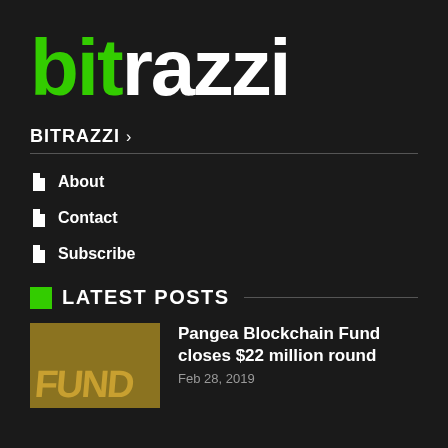[Figure (logo): Bitrazzi logo with 'bit' in green and 'razzi' in white, large bold text on dark background]
BITRAZZI >
About
Contact
Subscribe
LATEST POSTS
[Figure (photo): Thumbnail image showing golden/yellow textured background with text 'FUND' partially visible]
Pangea Blockchain Fund closes $22 million round
Feb 28, 2019